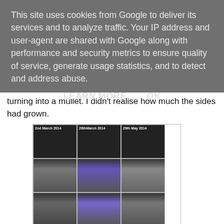This site uses cookies from Google to deliver its services and to analyze traffic. Your IP address and user-agent are shared with Google along with performance and security metrics to ensure quality of service, generate usage statistics, and to detect and address abuse.
LEARN MORE    OK
turning into a mullet. I didn't realise how much the sides had grown.
[Figure (photo): 3x3 grid of progress photos showing a person from front, back, and side views on three dates: 2nd March 2014, 26th March 2014, and 29th May 2014, with a partial 4th row visible at the bottom.]